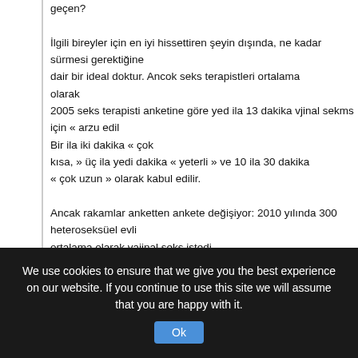geçen?

İlgili bireyler için en iyi hissettiren şeyin dışında, ne kadar sürmesi gerektiğine dair bir ideal doktur. Ancok seks terapistleri ortalama olarak
2005 seks terapisti anketine göre yed ila 13 dakika vjinal sekms için « arzu edil Bir ila iki dakika « çok
kısa, » üç ila yedi dakika « yeterli » ve 10 ila 30 dakika
« çok uzun » olarak kabul edilir.

Ancak rakamlar anketten ankete değişiyor: 2010 yılında 300 heteroseksüel evli ortalama olarak vajinal seks istedi
16 dakika sürecek. GQ tarafından cinsel ilişkiye giren 2.380
kişi üzerinde gerçekleştirilen resmi olmayan 2019
Twitter anketi, %61'inin cinsell ilişkiye girmek istediğini buldu.

penetrasyonun yaklaşık 5 ila 10 dakika sürdüğünü belirtenlerin oranı 11 dakika leyenlerin oranı
%26.

Açıkçası, ideal olarak kabul edilenler ıe çok fazla çeşitlilik var.
We use cookies to ensure that we give you the best experience on our website. If you continue to use this site we will assume that you are happy with it.